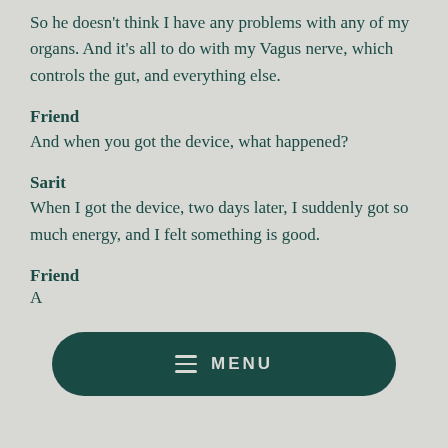So he doesn't think I have any problems with any of my organs. And it's all to do with my Vagus nerve, which controls the gut, and everything else.
Friend
And when you got the device, what happened?
Sarit
When I got the device, two days later, I suddenly got so much energy, and I felt something is good.
Friend
A...
[Figure (screenshot): Dark teal rounded rectangle menu bar with hamburger icon and MENU text]